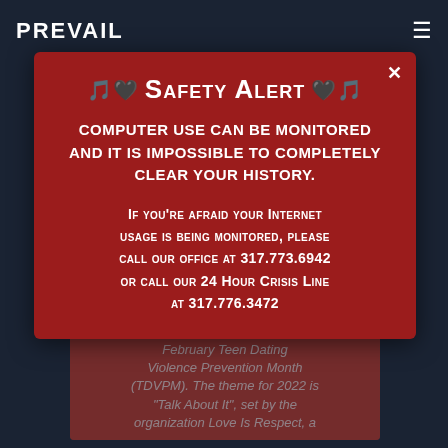PREVAIL
[Figure (screenshot): Background article card showing a red image with partially visible text about February Teen Dating Violence Prevention Month (TDVPM). The theme for 2022 is "Talk About It", set by the organization Love Is Respect, a...]
🖱️ Safety Alert 🖱️
Computer use can be monitored and it is impossible to completely clear your history.
If you're afraid your Internet usage is being monitored, please call our office at 317.773.6942 or call our 24 Hour Crisis Line at 317.776.3472